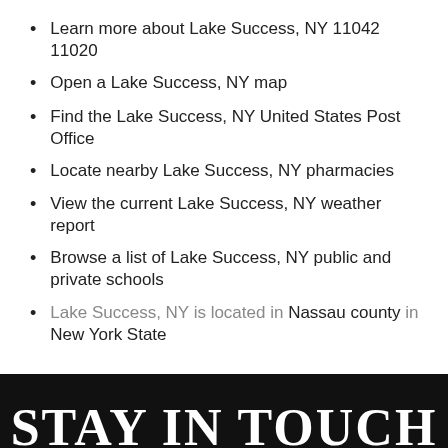Learn more about Lake Success, NY 11042 11020
Open a Lake Success, NY map
Find the Lake Success, NY United States Post Office
Locate nearby Lake Success, NY pharmacies
View the current Lake Success, NY weather report
Browse a list of Lake Success, NY public and private schools
Lake Success, NY is located in Nassau county in New York State
STAY IN TOUCH
Receive special discounts and updates about our custom jewelry collections and more.
Email